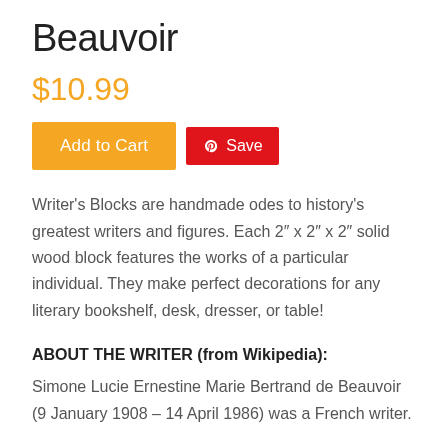Beauvoir
$10.99
Add to Cart   Save
Writer's Blocks are handmade odes to history's greatest writers and figures. Each 2" x 2" x 2" solid wood block features the works of a particular individual. They make perfect decorations for any literary bookshelf, desk, dresser, or table!
ABOUT THE WRITER (from Wikipedia):
Simone Lucie Ernestine Marie Bertrand de Beauvoir (9 January 1908 – 14 April 1986) was a French writer.